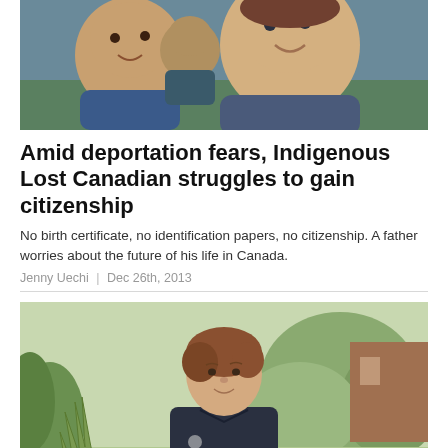[Figure (photo): Children laughing and playing outdoors, close-up photo of two young children smiling, wearing blue clothing]
Amid deportation fears, Indigenous Lost Canadian struggles to gain citizenship
No birth certificate, no identification papers, no citizenship. A father worries about the future of his life in Canada.
Jenny Uechi | Dec 26th, 2013
[Figure (photo): An older woman with short brown hair wearing a dark polo shirt, standing outdoors with green shrubs and a building in the background]